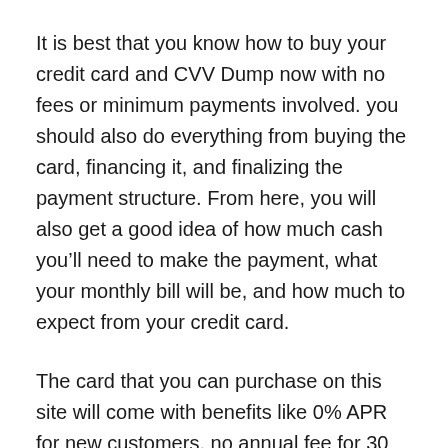It is best that you know how to buy your credit card and CVV Dump now with no fees or minimum payments involved. you should also do everything from buying the card, financing it, and finalizing the payment structure. From here, you will also get a good idea of how much cash you'll need to make the payment, what your monthly bill will be, and how much to expect from your credit card.
The card that you can purchase on this site will come with benefits like 0% APR for new customers, no annual fee for 30 months, and no annual credit checks. But before you take the plunge, make sure you understand the payoff terms and conditions of all the credit cards that are available for you to buy here.